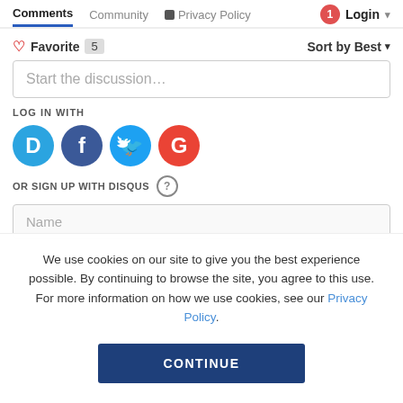Comments  Community  Privacy Policy
Login
Favorite 5  Sort by Best
Start the discussion...
LOG IN WITH
[Figure (illustration): Social login icons: Disqus (blue speech bubble with D), Facebook (dark blue circle with f), Twitter (light blue circle with bird), Google (red circle with G)]
OR SIGN UP WITH DISQUS ?
Name
We use cookies on our site to give you the best experience possible. By continuing to browse the site, you agree to this use. For more information on how we use cookies, see our Privacy Policy.
CONTINUE